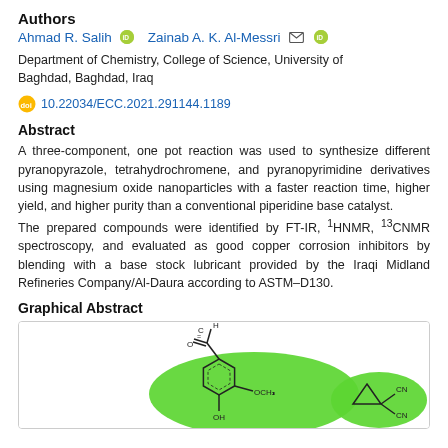Authors
Ahmad R. Salih [ORCID]   Zainab A. K. Al-Messri [email] [ORCID]
Department of Chemistry, College of Science, University of Baghdad, Baghdad, Iraq
doi 10.22034/ECC.2021.291144.1189
Abstract
A three-component, one pot reaction was used to synthesize different pyranopyrazole, tetrahydrochromene, and pyranopyrimidine derivatives using magnesium oxide nanoparticles with a faster reaction time, higher yield, and higher purity than a conventional piperidine base catalyst. The prepared compounds were identified by FT-IR, 1HNMR, 13CNMR spectroscopy, and evaluated as good copper corrosion inhibitors by blending with a base stock lubricant provided by the Iraqi Midland Refineries Company/Al-Daura according to ASTM–D130.
Graphical Abstract
[Figure (illustration): Chemical structures showing aromatic aldehyde compound with OCH3 and OH substituents (green oval background) and malononitrile (smaller green oval), part of graphical abstract for pyranopyrazole/tetrahydrochromene/pyranopyrimidine synthesis.]